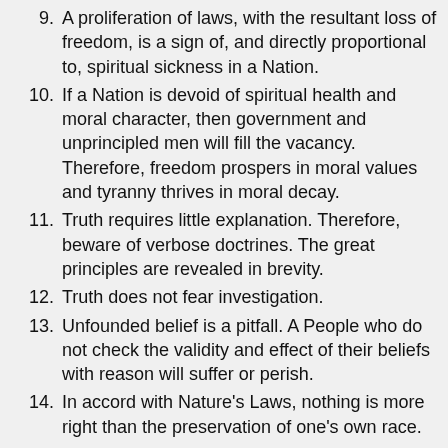9. A proliferation of laws, with the resultant loss of freedom, is a sign of, and directly proportional to, spiritual sickness in a Nation.
10. If a Nation is devoid of spiritual health and moral character, then government and unprincipled men will fill the vacancy. Therefore, freedom prospers in moral values and tyranny thrives in moral decay.
11. Truth requires little explanation. Therefore, beware of verbose doctrines. The great principles are revealed in brevity.
12. Truth does not fear investigation.
13. Unfounded belief is a pitfall. A People who do not check the validity and effect of their beliefs with reason will suffer or perish.
14. In accord with Nature's Laws, nothing is more right than the preservation of one's own race.
15. No greater motivating force exists than the certain conviction that one is right.
16. Discernment is a sign of a healthy People. In a sick or dying nation, civilization, culture, or race, substance is abandoned in favor of appearance.
17. Discernment includes the ability to recognize the